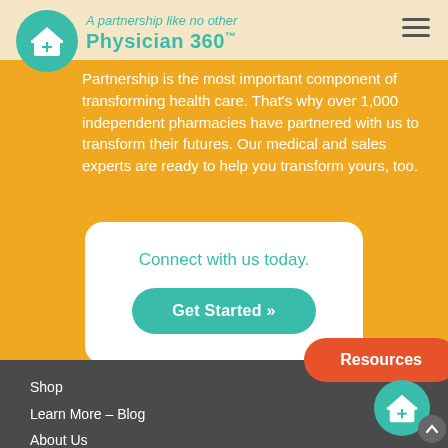[Figure (logo): Physician 360 logo - teal circle with house and caduceus icon]
Physician 360™
A partnership like no other
Partnership is the most important component of transforming health care. That's why over 1,000 independent pharmacies have partnered with us to transform their futures. Our medical and sales experts are ready to help you transform yours, too.
Connect with us today.
Get Started »
Resources
Shop
Learn More – Blog
About Us